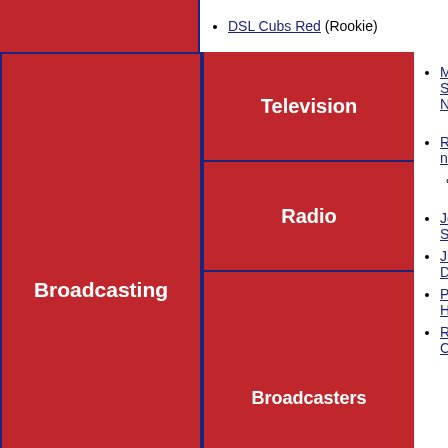DSL Cubs Red (Rookie)
Marquee Sports Network
Radio network
WSCR
Jon Sciambi
Jim Deshaies
Pat Hughes
Ron Coomer
Seasons (148)
1871
1874
1875
1876
1877
1878
1879
1880
1881
1882
1883